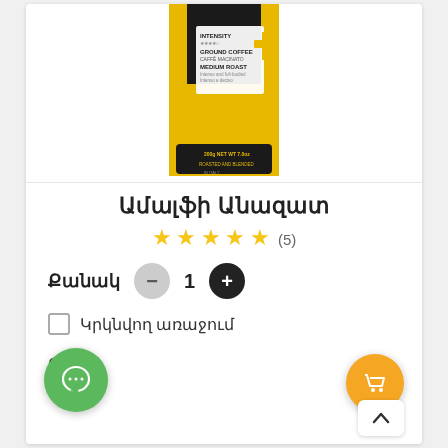[Figure (photo): Coffee bag product photo - AMALFI brand ground coffee, medium roast, intensity 4 stars, yellow and black packaging, 200g]
Ամալֆի Անազատ
★★★★★ (5)
Քանակ  -  1  +
☐ Կրկնվող առաջում
00 ֏